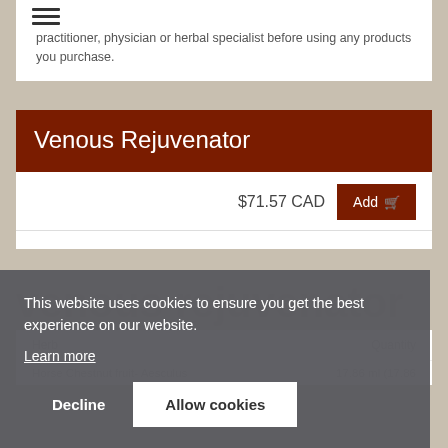practitioner, physician or herbal specialist before using any products you purchase.
Venous Rejuvenator
$71.57 CAD  Add
This website uses cookies to ensure you get the best experience on our website.
Learn more
Decline   Allow cookies
Herb  Quantity
Horse Chestnut fruit- Aesculus   17.86 ml (17.86